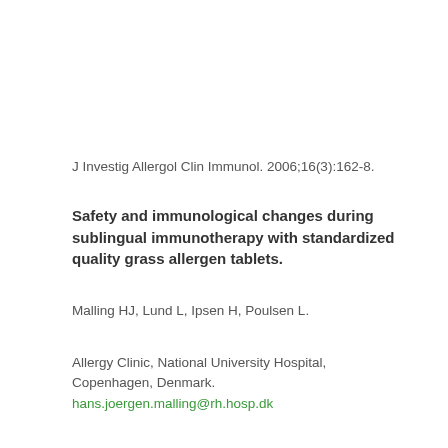J Investig Allergol Clin Immunol. 2006;16(3):162-8.
Safety and immunological changes during sublingual immunotherapy with standardized quality grass allergen tablets.
Malling HJ, Lund L, Ipsen H, Poulsen L.
Allergy Clinic, National University Hospital, Copenhagen, Denmark. hans.joergen.malling@rh.hosp.dk